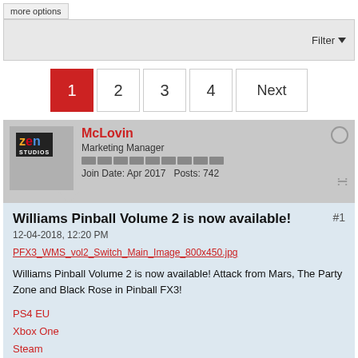more options
Filter ▼
1  2  3  4  Next
McLovin
Marketing Manager
Join Date: Apr 2017   Posts: 742
Williams Pinball Volume 2 is now available!
12-04-2018, 12:20 PM
PFX3_WMS_vol2_Switch_Main_Image_800x450.jpg
Williams Pinball Volume 2 is now available! Attack from Mars, The Party Zone and Black Rose in Pinball FX3!
PS4 EU
Xbox One
Steam
Also Zen Pinball on Mac.